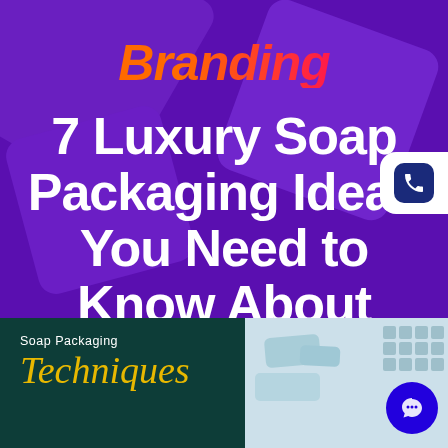Branding
7 Luxury Soap Packaging Ideas You Need to Know About
[Figure (infographic): Bottom strip with teal/dark green background on left showing 'Soap Packaging Techniques' text in white and yellow italic script, and a light blue section on the right with decorative soap shapes and boxes]
[Figure (illustration): Phone icon badge on right side - white rounded rectangle containing dark navy rounded square with white telephone handset icon]
[Figure (illustration): Blue circle chat button in bottom right corner with white speech bubble icon]